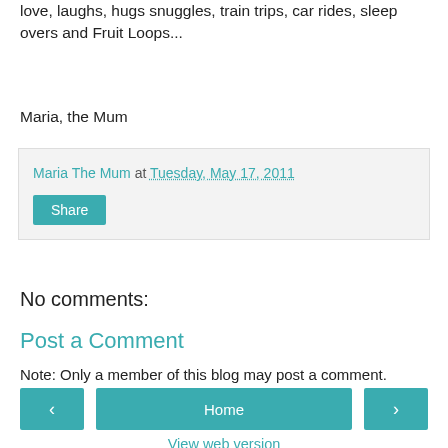love, laughs, hugs snuggles, train trips, car rides, sleep overs and Fruit Loops...
Maria, the Mum
Maria The Mum at Tuesday, May 17, 2011
Share
No comments:
Post a Comment
Note: Only a member of this blog may post a comment.
Home
View web version